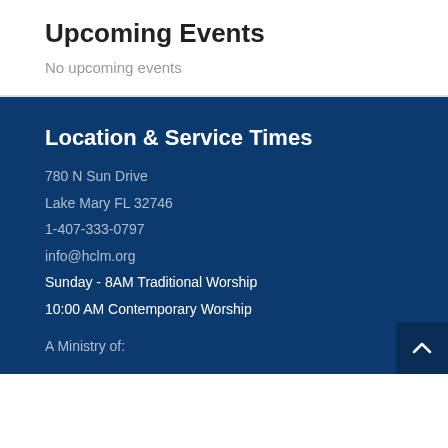Upcoming Events
No upcoming events
Location & Service Times
780 N Sun Drive
Lake Mary FL 32746
1-407-333-0797
info@hclm.org
Sunday - 8AM Traditional Worship
10:00 AM Contemporary Worship
A Ministry of: